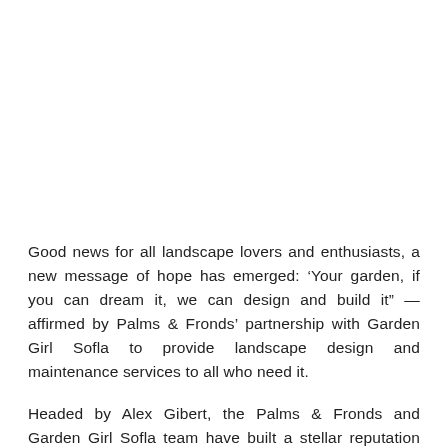Good news for all landscape lovers and enthusiasts, a new message of hope has emerged: ‘Your garden, if you can dream it, we can design and build it” — affirmed by Palms & Fronds’ partnership with Garden Girl Sofla to provide landscape design and maintenance services to all who need it.
Headed by Alex Gibert, the Palms & Fronds and Garden Girl Sofla team have built a stellar reputation for their imagination and quality work on landscape design. The team comprises trained professionals with the perfect blend of experience and youthful exuberance.